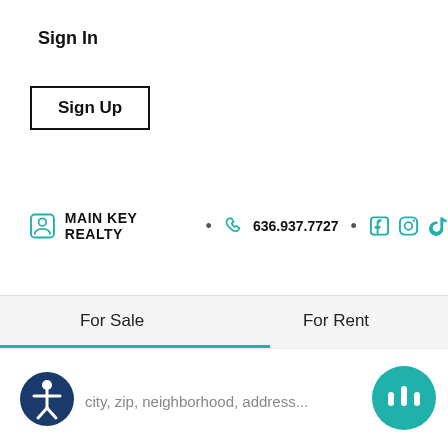Sign In
Sign Up
MAIN KEY REALTY  •  636.937.7727  •
[Figure (logo): Main Key Realty circular logo with gray circle border, teal 'Main Key' text and gray 'Realty' text with key icon]
Hello! Do you have any questions that I can help with?
For Sale
For Rent
city, zip, neighborhood, address...